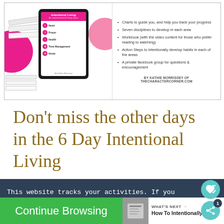[Figure (illustration): Screenshot/image of Intentional Living digital product by Kathie Morrissey of TheCharacterCorner.com, showing a tablet mockup with the book cover and bullet list of features including charts, seven disciplines, workbook, action steps, and private Facebook group. Byline reads 'BY KATHIE MORRISSEY OF THECHARACTERCORNER.COM']
Don't miss the other days in the 6 Day Intentional Living
This website tracks your activities. If you continue browsing the site, you're giving us consent to track your activity.
Continue Browsing
WHAT'S NEXT → How To Intentionally...